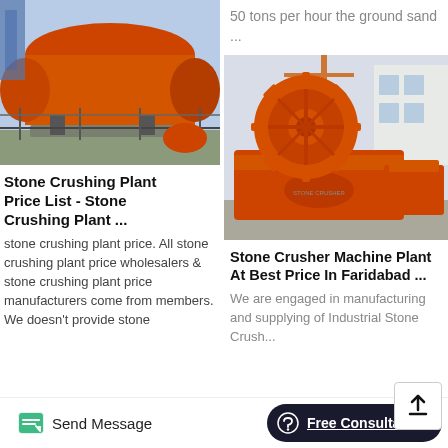[Figure (photo): Industrial orange rotary drum/kiln machinery photographed close-up outdoors]
Stone Crushing Plant Price List - Stone Crushing Plant ...
stone crushing plant price. All stone crushing plant price wholesalers & stone crushing plant price manufacturers come from members. We doesn't provide stone
50 tons per hour the ground sand ...
[Figure (photo): Large orange industrial sand washer wheel machine in factory yard]
Stone Crusher Machine Plant At Best Price In Faridabad ...
We are engaged in manufacturing and supplying of Industrial Stone Crusher...
Send Message   Free Consultation